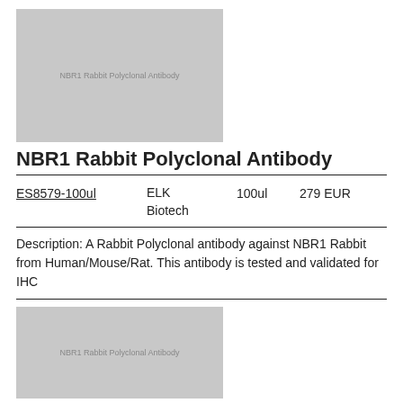[Figure (other): Placeholder product image for NBR1 Rabbit Polyclonal Antibody, gray rectangle with text label]
NBR1 Rabbit Polyclonal Antibody
| ES8579-100ul | ELK Biotech | 100ul | 279 EUR |
Description: A Rabbit Polyclonal antibody against NBR1 Rabbit from Human/Mouse/Rat. This antibody is tested and validated for IHC
[Figure (other): Placeholder product image for NBR1 Rabbit Polyclonal Antibody, gray rectangle with text label]
NBR1 Rabbit Polyclonal Antibody